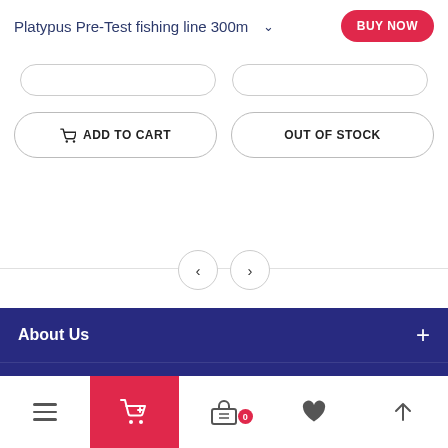Platypus Pre-Test fishing line 300m
ADD TO CART
OUT OF STOCK
About Us
Follow Us
FISHING
MORE
Navigation bar: menu, cart (0), wishlist, back to top